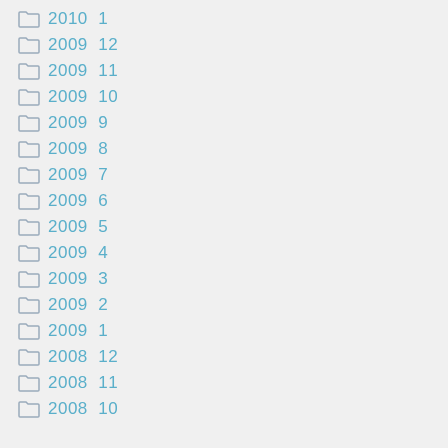2010  1
2009  12
2009  11
2009  10
2009  9
2009  8
2009  7
2009  6
2009  5
2009  4
2009  3
2009  2
2009  1
2008  12
2008  11
2008  10